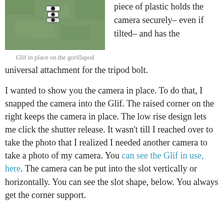[Figure (photo): Aerial photo showing a Glif device on a green textured surface (gorillapod), with a small camera mounted on it.]
Glif in place on the gorillapod
piece of plastic holds the camera securely– even if tilted– and has the universal attachment for the tripod bolt.
I wanted to show you the camera in place. To do that, I snapped the camera into the Glif. The raised corner on the right keeps the camera in place. The low rise design lets me click the shutter release. It wasn't till I reached over to take the photo that I realized I needed another camera to take a photo of my camera. You can see the Glif in use, here. The camera can be put into the slot vertically or horizontally. You can see the slot shape, below. You always get the corner support.